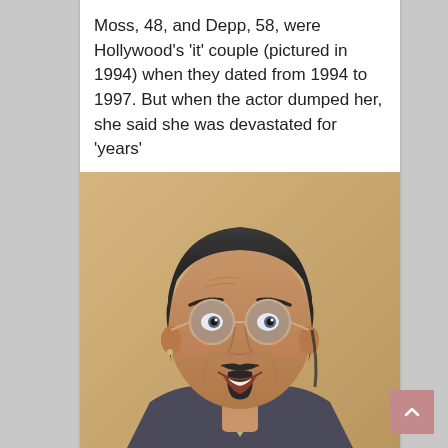Moss, 48, and Depp, 58, were Hollywood's 'it' couple (pictured in 1994) when they dated from 1994 to 1997. But when the actor dumped her, she said she was devastated for 'years'
[Figure (photo): Close-up photo of a middle-aged man with slicked-back dark hair, round blue-tinted glasses, a goatee/mustache, wearing a dark grey suit jacket, blue shirt and patterned tie. He appears to be smiling/laughing. AP watermark in bottom left.]